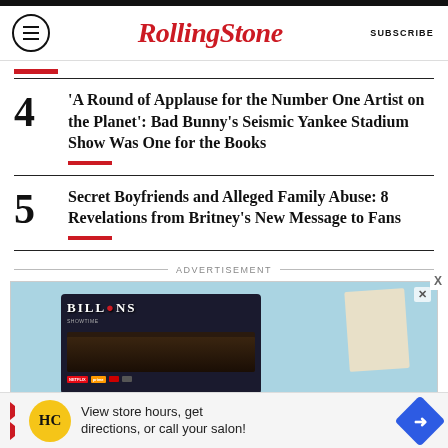RollingStone — SUBSCRIBE
4 — 'A Round of Applause for the Number One Artist on the Planet': Bad Bunny's Seismic Yankee Stadium Show Was One for the Books
5 — Secret Boyfriends and Alleged Family Abuse: 8 Revelations from Britney's New Message to Fans
[Figure (screenshot): Advertisement banner showing Billions TV show with blue background and streaming platform icons]
[Figure (advertisement): Bottom ad bar: HC logo, 'View store hours, get directions, or call your salon!' with blue diamond arrow icon]